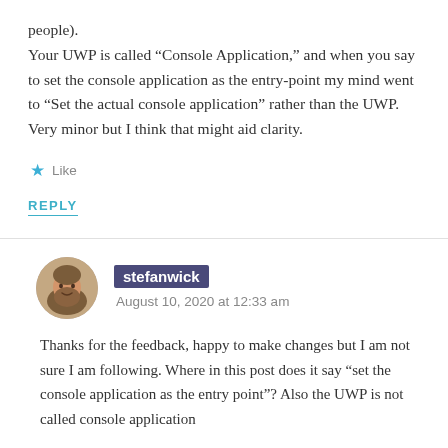people).
Your UWP is called “Console Application,” and when you say to set the console application as the entry-point my mind went to “Set the actual console application” rather than the UWP. Very minor but I think that might aid clarity.
Like
REPLY
stefanwick
August 10, 2020 at 12:33 am
Thanks for the feedback, happy to make changes but I am not sure I am following. Where in this post does it say “set the console application as the entry point”? Also the UWP is not called console application